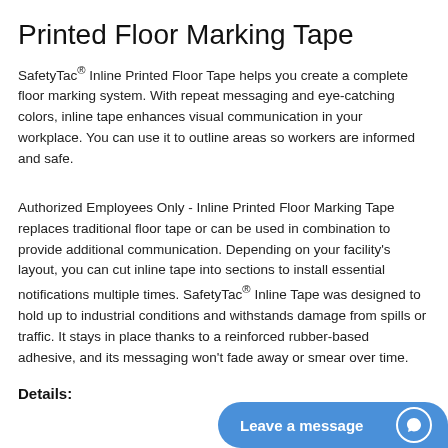Printed Floor Marking Tape
SafetyTac® Inline Printed Floor Tape helps you create a complete floor marking system. With repeat messaging and eye-catching colors, inline tape enhances visual communication in your workplace. You can use it to outline areas so workers are informed and safe.
Authorized Employees Only - Inline Printed Floor Marking Tape replaces traditional floor tape or can be used in combination to provide additional communication. Depending on your facility's layout, you can cut inline tape into sections to install essential notifications multiple times. SafetyTac® Inline Tape was designed to hold up to industrial conditions and withstands damage from spills or traffic. It stays in place thanks to a reinforced rubber-based adhesive, and its messaging won't fade away or smear over time.
Details:
[Figure (other): Blue 'Leave a message' chat button with speech bubble icon in bottom right corner]